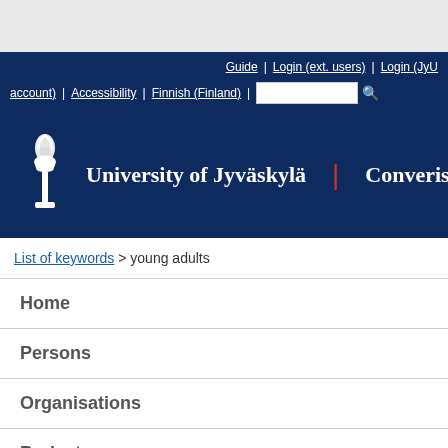Guide | Login (ext. users) | Login (JyU account) | Accessibility | Finnish (Finland) | [search]
[Figure (logo): University of Jyväskylä torch logo and wordmark with Converis text on dark navy blue background]
List of keywords > young adults
Home
Persons
Organisations
Projects
Publications